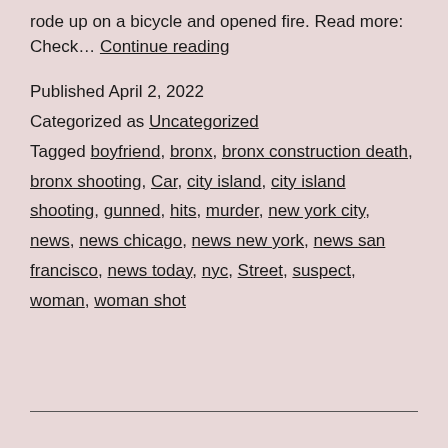rode up on a bicycle and opened fire. Read more: Check… Continue reading
Published April 2, 2022
Categorized as Uncategorized
Tagged boyfriend, bronx, bronx construction death, bronx shooting, Car, city island, city island shooting, gunned, hits, murder, new york city, news, news chicago, news new york, news san francisco, news today, nyc, Street, suspect, woman, woman shot